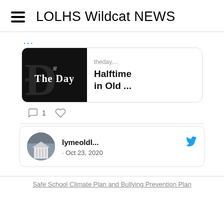LOLHS Wildcat NEWS
[Figure (screenshot): Embedded social media feed showing a tweet linking to 'The Day' newspaper article titled 'Halftime in Old ...' with 1 comment, and a tweet from lymeoldl... posted Oct 23, 2020 with a Twitter bird icon and a profile photo of a building.]
Safe School Climate Plan and Bullying Prevention Plan